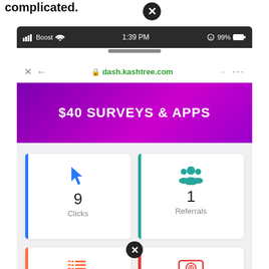complicated.
[Figure (screenshot): Mobile browser screenshot showing dash.kashtree.com with $40 SURVEYS & APPS banner, stats cards for Clicks (9) and Referrals (1), and partial cards below for tasks and earnings ($193.00)]